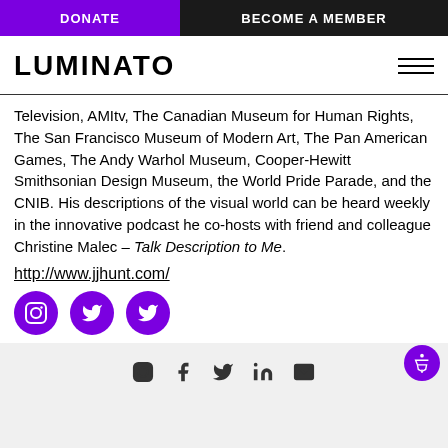DONATE | BECOME A MEMBER
LUMINATO
Television, AMItv, The Canadian Museum for Human Rights, The San Francisco Museum of Modern Art, The Pan American Games, The Andy Warhol Museum, Cooper-Hewitt Smithsonian Design Museum, the World Pride Parade, and the CNIB. His descriptions of the visual world can be heard weekly in the innovative podcast he co-hosts with friend and colleague Christine Malec – Talk Description to Me.
http://www.jjhunt.com/
[Figure (other): Social media icons: Instagram, Twitter, Twitter (purple circles)]
Footer social icons: Instagram, Facebook, Twitter, LinkedIn, Email